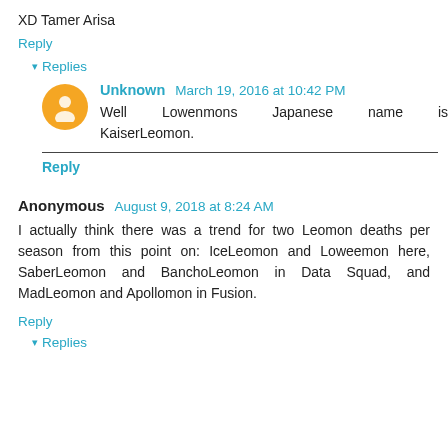XD Tamer Arisa
Reply
▾ Replies
Unknown  March 19, 2016 at 10:42 PM
Well Lowenmons Japanese name is KaiserLeomon.
Reply
Anonymous  August 9, 2018 at 8:24 AM
I actually think there was a trend for two Leomon deaths per season from this point on: IceLeomon and Loweemon here, SaberLeomon and BanchoLeomon in Data Squad, and MadLeomon and Apollomon in Fusion.
Reply
▾ Replies